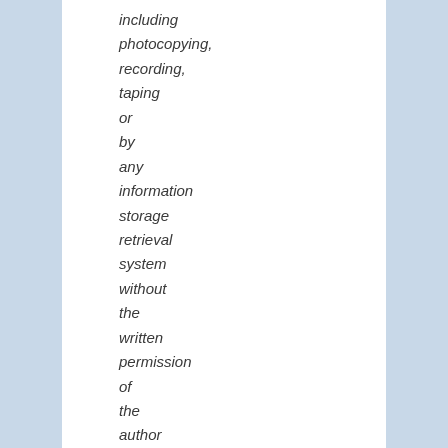including photocopying, recording, taping or by any information storage retrieval system without the written permission of the author except in the case of